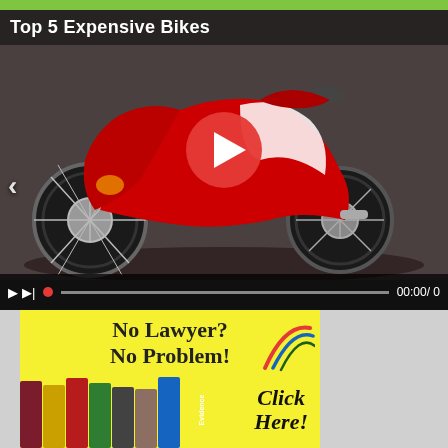Top 5 Expensive Bikes
[Figure (screenshot): Video player showing a red and white custom motorcycle with panther-style body, large play button overlay in center, left navigation arrow, playback controls bar at bottom showing 00:00 / 0]
[Figure (infographic): Advertisement banner with yellow background: 'No Lawyer? No Problem!' text at top, colorful law books (Motions, Witnesses, Court Rules, Forms, Objections, Tactics, Evidence) on left, decorative swoosh on top right, 'Click Here!' italic bold text on bottom right]